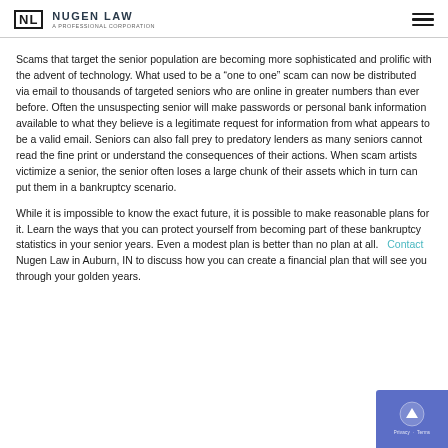NL NUGEN LAW A PROFESSIONAL CORPORATION
Scams that target the senior population are becoming more sophisticated and prolific with the advent of technology. What used to be a “one to one” scam can now be distributed via email to thousands of targeted seniors who are online in greater numbers than ever before. Often the unsuspecting senior will make passwords or personal bank information available to what they believe is a legitimate request for information from what appears to be a valid email. Seniors can also fall prey to predatory lenders as many seniors cannot read the fine print or understand the consequences of their actions. When scam artists victimize a senior, the senior often loses a large chunk of their assets which in turn can put them in a bankruptcy scenario.
While it is impossible to know the exact future, it is possible to make reasonable plans for it. Learn the ways that you can protect yourself from becoming part of these bankruptcy statistics in your senior years. Even a modest plan is better than no plan at all.   Contact Nugen Law in Auburn, IN to discuss how you can create a financial plan that will see you through your golden years.